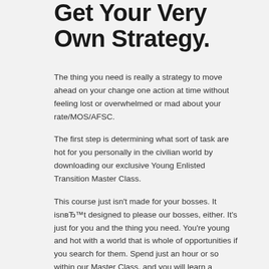Get Your Very Own Strategy.
The thing you need is really a strategy to move ahead on your change one action at time without feeling lost or overwhelmed or mad about your rate/MOS/AFSC.
The first step is determining what sort of task are hot for you personally in the civilian world by downloading our exclusive Young Enlisted Transition Master Class.
This course just isn’t made for your bosses. It isnвЂ™t designed to please our bosses, either. It’s just for you and the thing you need. You’re young and hot with a world that is whole of opportunities if you search for them. Spend just an hour or so within our Master Class, and you will learn a technique that is simple figure out in which you’ll flourish into the civilian globe, along with our